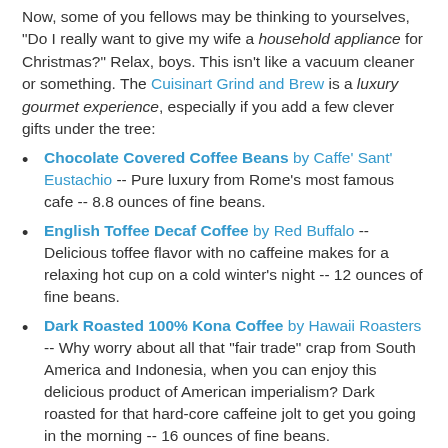Now, some of you fellows may be thinking to yourselves, "Do I really want to give my wife a household appliance for Christmas?" Relax, boys. This isn't like a vacuum cleaner or something. The Cuisinart Grind and Brew is a luxury gourmet experience, especially if you add a few clever gifts under the tree:
Chocolate Covered Coffee Beans by Caffe' Sant' Eustachio -- Pure luxury from Rome's most famous cafe -- 8.8 ounces of fine beans.
English Toffee Decaf Coffee by Red Buffalo -- Delicious toffee flavor with no caffeine makes for a relaxing hot cup on a cold winter's night -- 12 ounces of fine beans.
Dark Roasted 100% Kona Coffee by Hawaii Roasters -- Why worry about all that "fair trade" crap from South America and Indonesia, when you can enjoy this delicious product of American imperialism? Dark roasted for that hard-core caffeine jolt to get you going in the morning -- 16 ounces of fine beans.
Dark Chocolate & Mint S'mores by Ghirardelli